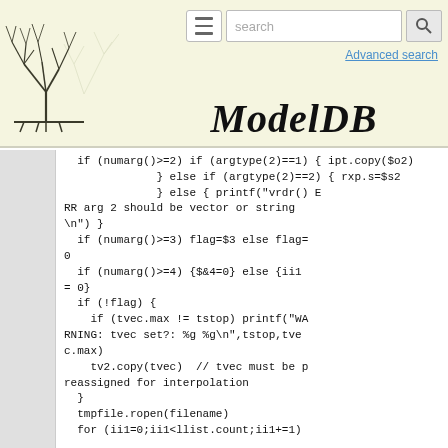ModelDB — Advanced search
[Figure (logo): ModelDB tree/neuron logo illustration]
search [search box] [search button]
Advanced search
ModelDB
if (numarg()>=2) if (argtype(2)==1) { ipt.copy($o2)
              } else if (argtype(2)==2) { rxp.s=$s2
              } else { printf("vrdr() ERR arg 2 should be vector or string\n") }
  if (numarg()>=3) flag=$3 else flag=0
  if (numarg()>=4) {$&4=0} else {ii1 = 0}
  if (!flag) {
    if (tvec.max != tstop) printf("WARNING: tvec set?: %g %g\n",tstop,tvec.max)
    tv2.copy(tvec)  // tvec must be reassigned for interpolation
  }
  tmpfile.ropen(filename)
  for (ii1=0;ii1<llist.count;ii1+=1)